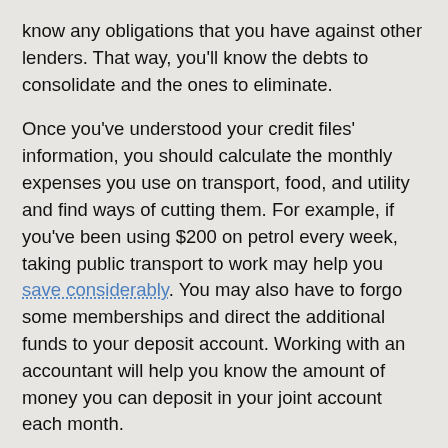know any obligations that you have against other lenders. That way, you'll know the debts to consolidate and the ones to eliminate.
Once you've understood your credit files' information, you should calculate the monthly expenses you use on transport, food, and utility and find ways of cutting them. For example, if you've been using $200 on petrol every week, taking public transport to work may help you save considerably. You may also have to forgo some memberships and direct the additional funds to your deposit account. Working with an accountant will help you know the amount of money you can deposit in your joint account each month.
The second way of saving for a deposit is having a target. Once both of you have set a budget and found ways of lowering your current expenses, it's essential